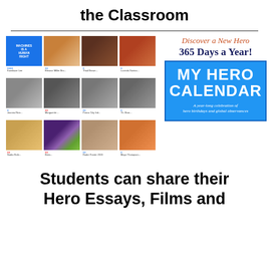the Classroom
[Figure (screenshot): Grid of 12 hero profile thumbnails alongside a MY HERO CALENDAR advertisement box. The calendar box reads 'Discover a New Hero 365 Days a Year! MY HERO CALENDAR — A year-long celebration of hero birthdays and global observances']
Students can share their Hero Essays, Films and